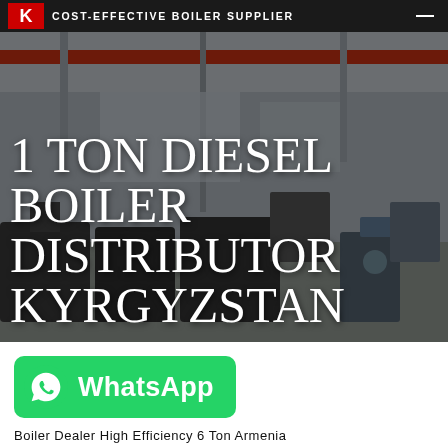COST-EFFECTIVE BOILER SUPPLIER
[Figure (photo): Industrial boiler factory/warehouse interior with overhead crane, large boiler units on the floor, steel structure, dimly lit with a dark overlay. Large white text overlay reads: 1 TON DIESEL BOILER DISTRIBUTOR KYRGYZSTAN]
1 TON DIESEL BOILER DISTRIBUTOR KYRGYZSTAN
[Figure (logo): WhatsApp button — green rounded rectangle with WhatsApp phone icon and the text WhatsApp in white bold font]
Boiler Dealer High Efficiency 6 Ton Armenia